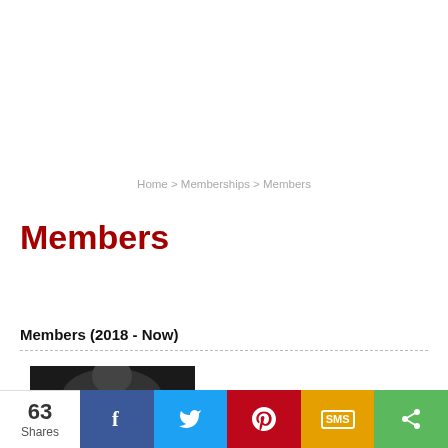Home > Memberships > Members
Members
Members (2018 - Now)
[Figure (photo): Partial view of a member photo, dark background, cropped at bottom of page]
63 Shares